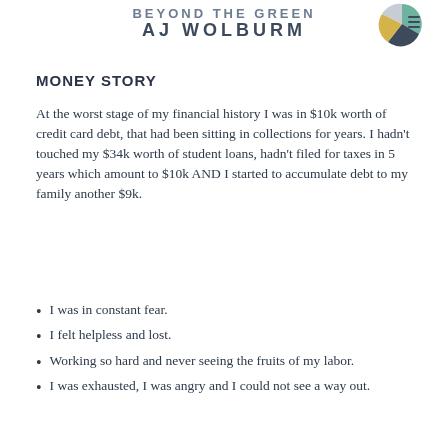BEYOND THE GREEN
AJ WOLBURM
MONEY STORY
At the worst stage of my financial history I was in $10k worth of credit card debt, that had been sitting in collections for years. I hadn't touched my $34k worth of student loans, hadn't filed for taxes in 5 years which amount to $10k AND I started to accumulate debt to my family another $9k.
I was in constant fear.
I felt helpless and lost.
Working so hard and never seeing the fruits of my labor.
I was exhausted, I was angry and I could not see a way out.